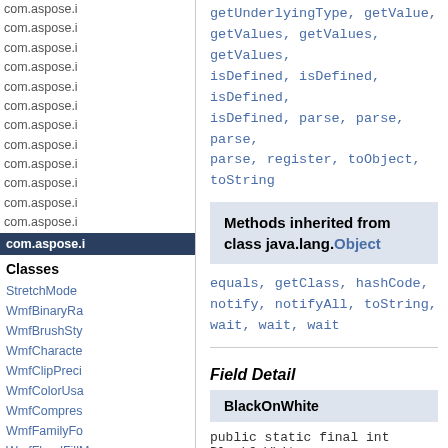com.aspose.i (repeated links in sidebar)
getUnderlyingType, getValue, getValues, getValues, getValues, isDefined, isDefined, isDefined, isDefined, parse, parse, parse, parse, register, toObject, toString
Methods inherited from class java.lang.Object
equals, getClass, hashCode, notify, notifyAll, toString, wait, wait, wait
com.aspose.i
Classes
StretchMode
WmfBinaryRa
WmfBrushSty
WmfCharacte
WmfClipPreci
WmfColorUsa
WmfCompres
WmfFamilyFo
WmfFloodFillM
WmfFontQua
Field Detail
BlackOnWhite
public static final int BlackOnWhite
Performs a Boolean AND operation